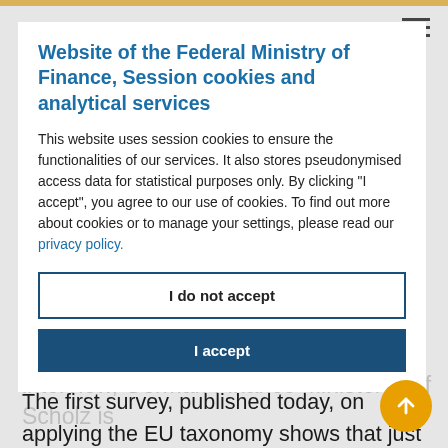Website of the Federal Ministry of Finance, Session cookies and analytical services
This website uses session cookies to ensure the functionalities of our services. It also stores pseudonymised access data for statistical purposes only. By clicking "I accept", you agree to our use of cookies. To find out more about cookies or to manage your settings, please read our privacy policy.
I do not accept
I accept
calling on European companies to invest more in sustainable economic activities. The first survey, published today, on applying the EU taxonomy shows that just 2% of companies' activities by